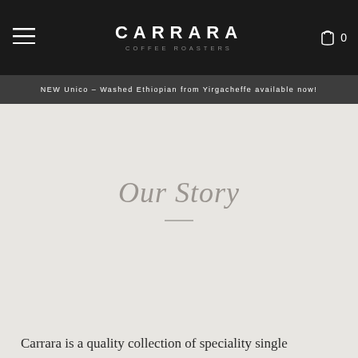CARRARA COFFEE ROASTERS
NEW Unico – Washed Ethiopian from Yirgacheffe available now!
Our Story
Carrara is a quality collection of speciality single